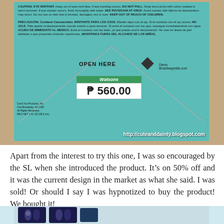[Figure (photo): Back of a teal Broadway Nails product box showing warning label text in English and Spanish, an 'OPEN HERE' flap with a diamond-shaped logo, and a Watsons price sticker showing P 560.00. The blog watermark http://cuteanddainty.blogspot.com appears at the bottom right of the image.]
Apart from the interest to try this one, I was so encouraged by the SL when she introduced the product. It’s on 50% off and it was the current design in the market as what she said. I was sold! Or should I say I was hypnotized to buy the product! We bought it!
[Figure (photo): Partial view of the Broadway Nails product contents showing dark blue nail tips with floral designs in a clear plastic tray.]